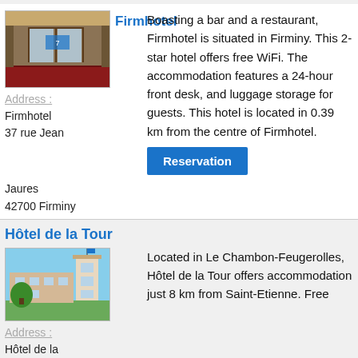[Figure (photo): Photo of Firmhotel entrance with glass doors and red carpet]
Firmhotel
Address : Firmhotel 37 rue Jean Jaures 42700 Firminy
Boasting a bar and a restaurant, Firmhotel is situated in Firminy. This 2-star hotel offers free WiFi. The accommodation features a 24-hour front desk, and luggage storage for guests. This hotel is located in 0.39 km from the centre of Firmhotel.
Reservation
Hôtel de la Tour
[Figure (photo): Photo of Hôtel de la Tour building with tower and trees]
Address : Hôtel de la Tour ZI de la
Located in Le Chambon-Feugerolles, Hôtel de la Tour offers accommodation just 8 km from Saint-Etienne. Free